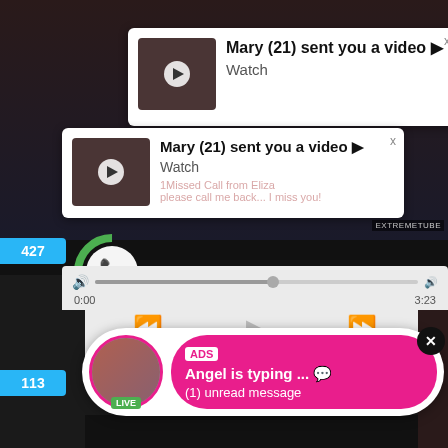[Figure (screenshot): Video grid background with thumbnails]
Mary (21) sent you a video ▶
Watch
Mary (21) sent you a video ▶
Watch
1Missed Call from Eliza
please call me back... I miss you!
427
0:00
3:23
EXTREMETUBE
ADS
Angel is typing ... 💬
(1) unread message
LIVE
113